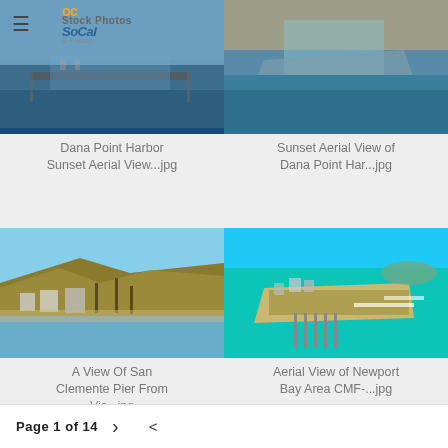[Figure (screenshot): Navigation hamburger menu icon (three horizontal lines) in top left]
[Figure (photo): Aerial photo of Dana Point Harbor at sunset with boats and bridge, overlaid with OC SoCal stock photos logo]
[Figure (photo): Aerial photo of Dana Point Harbor sunset view from above showing harbor breakwater and marina]
Dana Point Harbor Sunset Aerial View...jpg
Sunset Aerial View of Dana Point Har...jpg
[Figure (photo): Coastal view of San Clemente Pier from above showing cliffs, palm trees, beach and ocean]
[Figure (photo): Aerial view of Newport Bay Area showing marina, sandy peninsula, boats and turquoise water]
A View Of San Clemente Pier From Vic...jpg
Aerial View of Newport Bay Area CMF-...jpg
Page 1 of 14